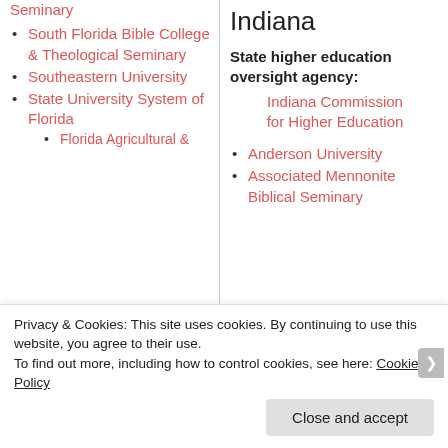Seminary
South Florida Bible College & Theological Seminary
Southeastern University
State University System of Florida
Florida Agricultural &
Indiana
State higher education oversight agency:
Indiana Commission for Higher Education
Anderson University
Associated Mennonite Biblical Seminary
Privacy & Cookies: This site uses cookies. By continuing to use this website, you agree to their use.
To find out more, including how to control cookies, see here: Cookie Policy